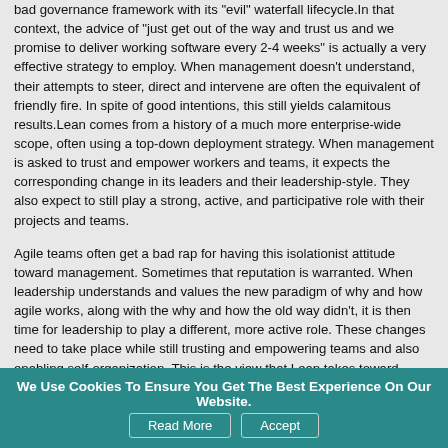bad governance framework with its "evil" waterfall lifecycle.In that context, the advice of "just get out of the way and trust us and we promise to deliver working software every 2-4 weeks" is actually a very effective strategy to employ. When management doesn't understand, their attempts to steer, direct and intervene are often the equivalent of friendly fire.  In spite of good intentions, this still yields calamitous results.Lean comes from a history of a much more enterprise-wide scope, often using a top-down deployment strategy. When management is asked to trust and empower workers and teams, it expects the corresponding change in its leaders and their leadership-style.  They also expect to still play a strong, active, and participative role with their projects and teams.
Agile teams often get a bad rap for having this isolationist attitude toward management.  Sometimes that reputation is warranted.  When leadership understands and values the new paradigm of why and how agile works, along with the why and how the old way didn't, it is then time for leadership to play a different, more active role.  These changes need to take place while still trusting and empowering teams and also enabling self-organization. This is the view that Lean takes toward management and is a big part of why it is better received by management and more broadly applicable for scaling agility up and out in larger enterprises.
Upon understanding this, we can then realize why, perhaps, we need to
We Use Cookies To Ensure You Get The Best Experience On Our Website. Read More Accept